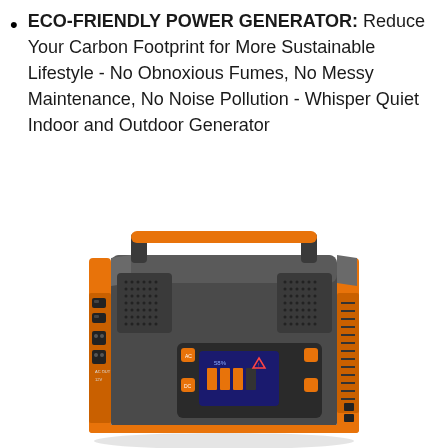ECO-FRIENDLY POWER GENERATOR: Reduce Your Carbon Footprint for More Sustainable Lifestyle - No Obnoxious Fumes, No Messy Maintenance, No Noise Pollution - Whisper Quiet Indoor and Outdoor Generator
[Figure (photo): Portable power station / solar generator with orange and dark gray body, carry handle on top, USB ports and AC outlets on the side, LCD display panel on the front with orange buttons, ventilation grilles on sides.]